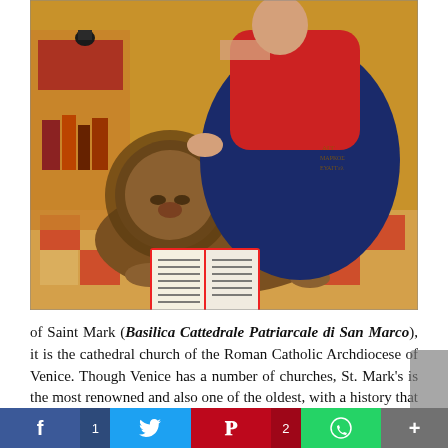[Figure (illustration): Byzantine-style icon painting showing a figure in red and dark blue robes seated next to a large lion. An open book with text lies in front of the lion. Background shows a decorative floor with red and white checkered pattern and architectural elements. This is an icon of Saint Mark the Evangelist.]
of Saint Mark (Basilica Cattedrale Patriarcale di San Marco), it is the cathedral church of the Roman Catholic Archdiocese of Venice. Though Venice has a number of churches, St. Mark's is the most renowned and also one of the oldest, with a history that goes back to the year 800s.
f 1 | Twitter | P 2 | WhatsApp | +